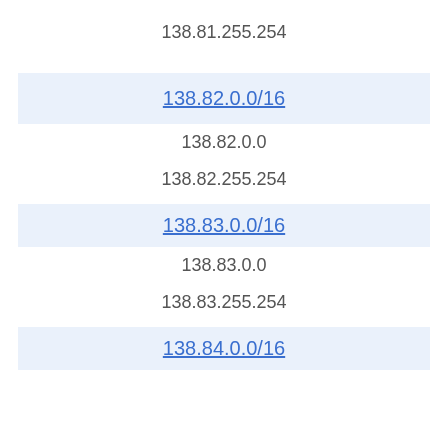138.81.255.254
138.82.0.0/16
138.82.0.0
138.82.255.254
138.83.0.0/16
138.83.0.0
138.83.255.254
138.84.0.0/16